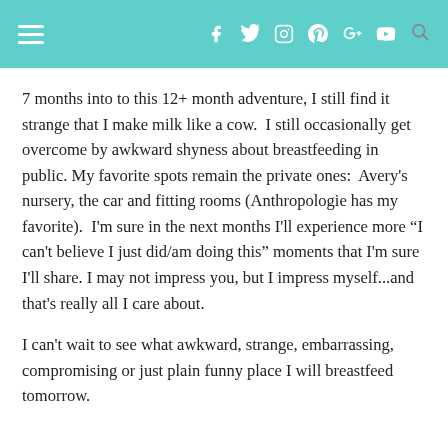Navigation header with hamburger menu and social icons
7 months into to this 12+ month adventure, I still find it strange that I make milk like a cow.  I still occasionally get overcome by awkward shyness about breastfeeding in public. My favorite spots remain the private ones:  Avery's nursery, the car and fitting rooms (Anthropologie has my favorite).  I'm sure in the next months I'll experience more “I can't believe I just did/am doing this" moments that I'm sure I'll share. I may not impress you, but I impress myself...and that's really all I care about.
I can't wait to see what awkward, strange, embarrassing, compromising or just plain funny place I will breastfeed tomorrow.